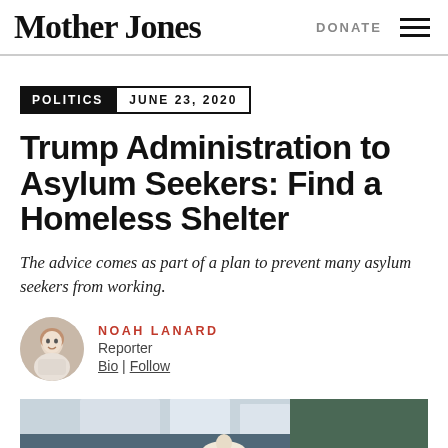Mother Jones | DONATE
POLITICS  JUNE 23, 2020
Trump Administration to Asylum Seekers: Find a Homeless Shelter
The advice comes as part of a plan to prevent many asylum seekers from working.
NOAH LANARD
Reporter
Bio | Follow
[Figure (photo): Outdoor photo showing a figure with white/gray hair in front of trees and a white building, partially cropped at bottom of page]